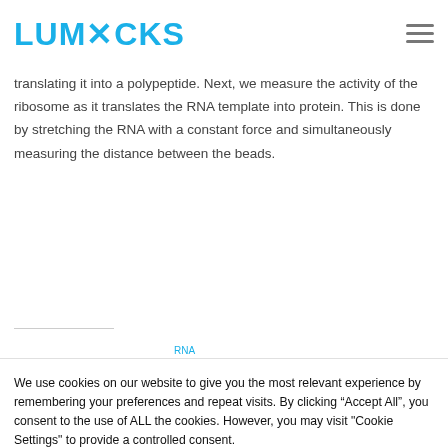LUMICKS
translating it into a polypeptide. Next, we measure the activity of the ribosome as it translates the RNA template into protein. This is done by stretching the RNA with a constant force and simultaneously measuring the distance between the beads.
We use cookies on our website to give you the most relevant experience by remembering your preferences and repeat visits. By clicking “Accept All”, you consent to the use of ALL the cookies. However, you may visit "Cookie Settings" to provide a controlled consent.